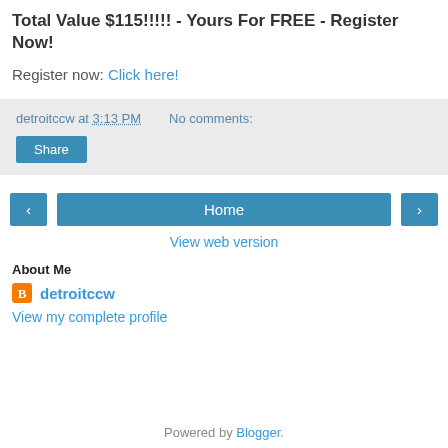Total Value $115!!!!! - Yours For FREE - Register Now!
Register now: Click here!
detroitccw at 3:13 PM   No comments:
Share
‹   Home   ›
View web version
About Me
detroitccw
View my complete profile
Powered by Blogger.